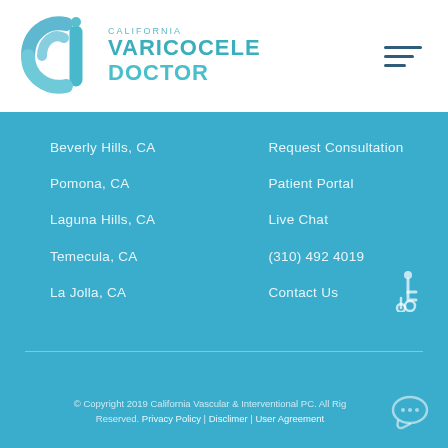[Figure (logo): CVI California Varicocele Doctor logo with teal circular icon and text]
Beverly Hills, CA
Pomona, CA
Laguna Hills, CA
Temecula, CA
La Jolla, CA
Request Consultation
Patient Portal
Live Chat
(310) 492 4019
Contact Us
© Copyright 2019 California Vascular & Interventional PC. All Rights Reserved. Privacy Policy | Disclimer | User Agreement